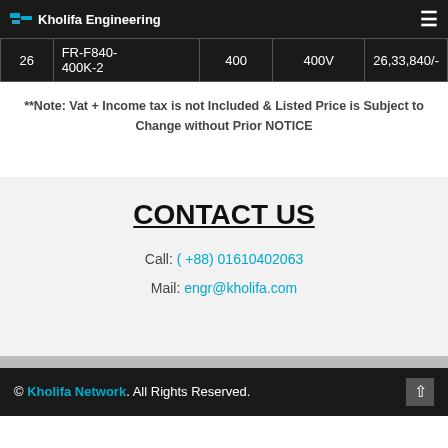Kholifa Engineering
| # | Model | Qty | Voltage | Price |
| --- | --- | --- | --- | --- |
| 26 | FR-F840-400K-2 | 400 | 400V | 26,33,840/- |
**Note: Vat + Income tax is not Included & Listed Price is Subject to Change without Prior NOTICE
CONTACT US
Call: (+88) 01610402063
Mail: engr@kholifa.com
© Kholifa Network. All Rights Reserved.